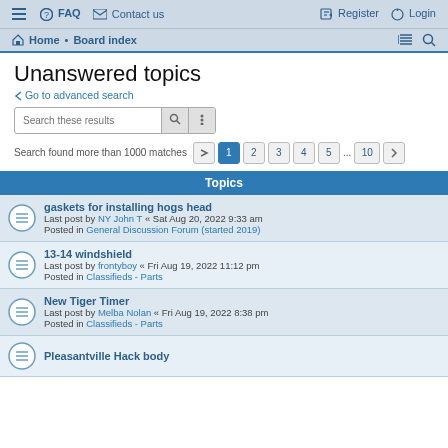≡  FAQ  Contact us    Register  Login
Home · Board index
Unanswered topics
< Go to advanced search
Search these results
Search found more than 1000 matches  1 2 3 4 5 ... 10 >
Topics
gaskets for installing hogs head
Last post by NY John T « Sat Aug 20, 2022 9:33 am
Posted in General Discussion Forum (started 2019)
13-14 windshield
Last post by frontyboy « Fri Aug 19, 2022 11:12 pm
Posted in Classifieds - Parts
New Tiger Timer
Last post by Melba Nolan « Fri Aug 19, 2022 8:38 pm
Posted in Classifieds - Parts
Pleasantville Hack body